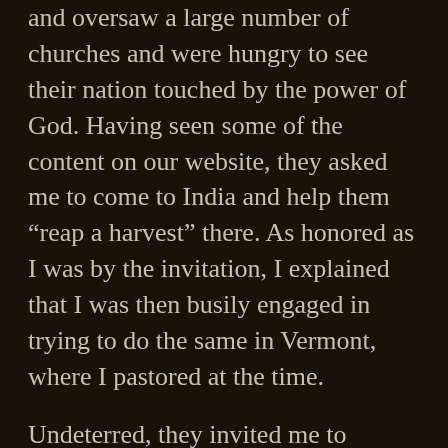and oversaw a large number of churches and were hungry to see their nation touched by the power of God. Having seen some of the content on our website, they asked me to come to India and help them “reap a harvest” there. As honored as I was by the invitation, I explained that I was then busily engaged in trying to do the same in Vermont, where I pastored at the time.
Undeterred, they invited me to provide programming for the Christian television channel on which they broadcasted. I was more than happy to oblige and thus began our “international” television effort. We primarily preached on healing, and at the end of the program we prayed for the sick and led them to Christ. Despite the simplicity of our efforts, I knew God would confirm His Word. Sure enough, it wasn’t long before the testimonies